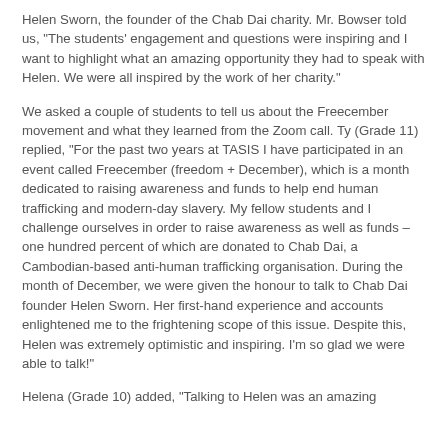Helen Sworn, the founder of the Chab Dai charity. Mr. Bowser told us, "The students' engagement and questions were inspiring and I want to highlight what an amazing opportunity they had to speak with Helen. We were all inspired by the work of her charity."
We asked a couple of students to tell us about the Freecember movement and what they learned from the Zoom call. Ty (Grade 11) replied, "For the past two years at TASIS I have participated in an event called Freecember (freedom + December), which is a month dedicated to raising awareness and funds to help end human trafficking and modern-day slavery. My fellow students and I challenge ourselves in order to raise awareness as well as funds – one hundred percent of which are donated to Chab Dai, a Cambodian-based anti-human trafficking organisation. During the month of December, we were given the honour to talk to Chab Dai founder Helen Sworn. Her first-hand experience and accounts enlightened me to the frightening scope of this issue. Despite this, Helen was extremely optimistic and inspiring. I'm so glad we were able to talk!"
Helena (Grade 10) added, "Talking to Helen was an amazing...